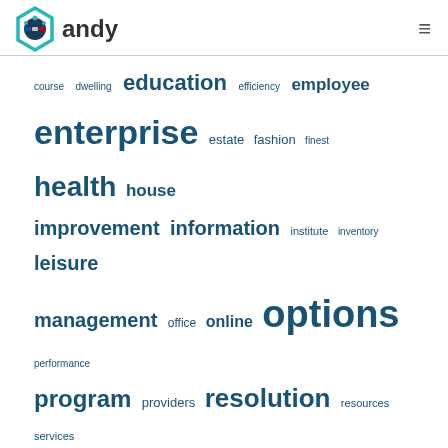[Figure (logo): Handy logo with hexagon icon and stylized text 'handy']
[Figure (other): Hamburger menu icon (three horizontal lines)]
[Figure (infographic): Tag cloud with words of varying sizes: course, dwelling, education, efficiency, employee, enterprise, estate, fashion, finest, health, house, improvement, information, institute, inventory, leisure, management, office, online, options, performance, program, providers, resolution, resources, services, small, software, solution, solutions, state, stock, supplier, technology, travel, workplace]
About Us
Sitemap